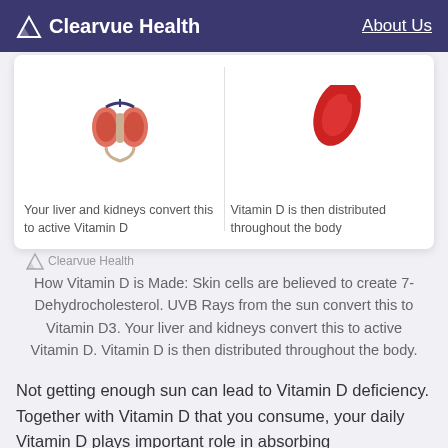Clearvue Health   About Us
[Figure (illustration): Two-column infographic cards showing kidney/organ illustration on the left and a blood/body illustration on the right, with a Clearvue Health watermark at the bottom]
Your liver and kidneys convert this to active Vitamin D
Vitamin D is then distributed throughout the body
How Vitamin D is Made: Skin cells are believed to create 7-Dehydrocholesterol. UVB Rays from the sun convert this to Vitamin D3. Your liver and kidneys convert this to active Vitamin D. Vitamin D is then distributed throughout the body.
Not getting enough sun can lead to Vitamin D deficiency. Together with Vitamin D that you consume, your daily Vitamin D plays important role in absorbing